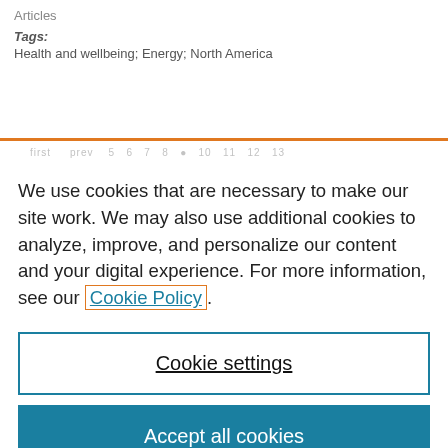Articles
Tags:
Health and wellbeing; Energy;  North America
We use cookies that are necessary to make our site work. We may also use additional cookies to analyze, improve, and personalize our content and your digital experience. For more information, see our Cookie Policy.
Cookie settings
Accept all cookies